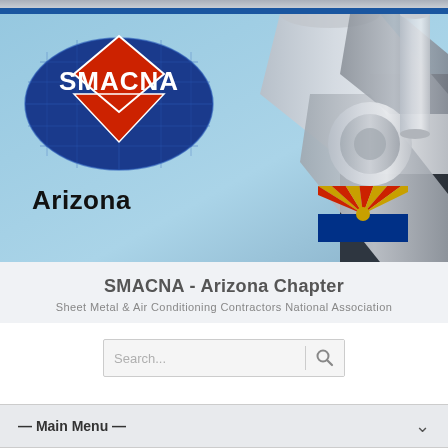[Figure (screenshot): SMACNA Arizona Chapter website screenshot showing logo with SMACNA globe and red diamond on blue oval, ductwork background photo with Arizona state flag, site title, subtitle, search bar, and main menu dropdown.]
SMACNA - Arizona Chapter
Sheet Metal & Air Conditioning Contractors National Association
— Main Menu —